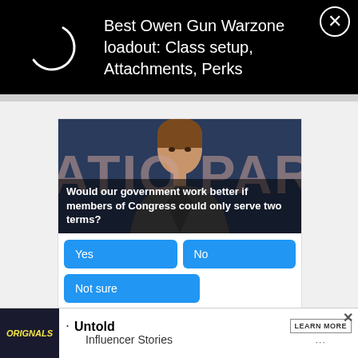[Figure (screenshot): Top black ad banner with loading spinner and text 'Best Owen Gun Warzone loadout: Class setup, Attachments, Perks' with close X button]
[Figure (photo): Photo of a woman in front of a background showing 'ATI' and 'PAR' text (partial 'NATIONAL PARTY' sign), with question overlay text]
Would our government work better if members of Congress could only serve two terms?
Yes
No
Not sure
Sponsored Ad
[Figure (screenshot): Bottom ad banner for 'ORIGINALS' featuring 'Untold Influencer Stories' with LEARN MORE button]